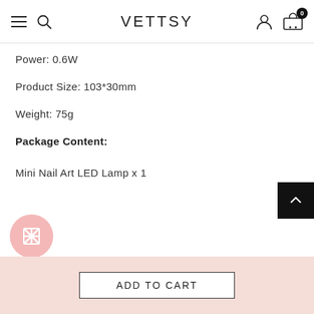VETTSY
Power: 0.6W
Product Size: 103*30mm
Weight: 75g
Package Content:
Mini Nail Art LED Lamp x 1
ADD TO CART